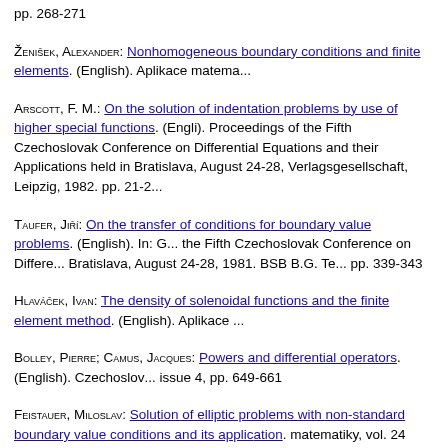pp. 268-271
Ženišek, Alexander: Nonhomogeneous boundary conditions and finite elements. (English). Aplikace matemati...
Arscott, F. M.: On the solution of indentation problems by use of higher special functions. (English). Proceedings of the Fifth Czechoslovak Conference on Differential Equations and their Applications held in Bratislava, August 24-28, Verlagsgesellschaft, Leipzig, 1982. pp. 21-2...
Taufer, Jiří: On the transfer of conditions for boundary value problems. (English). In: G... the Fifth Czechoslovak Conference on Diffe... Bratislava, August 24-28, 1981. BSB B.G. T... pp. 339-343
Hlaváček, Ivan: The density of solenoidal fu... finite element method. (English). Aplikace ...
Bolley, Pierre; Camus, Jacques: Powers and... differential operators. (English). Czechoslov... issue 4, pp. 649-661
Feistauer, Miloslav: Solution of elliptic prob... boundary value conditions and its applic... matematiky, vol. 24 (1979), issue 1, pp. 67-7...
Hlaváček, Ivan: Dual finite element analysis... value problems. (English). Aplikace matem...